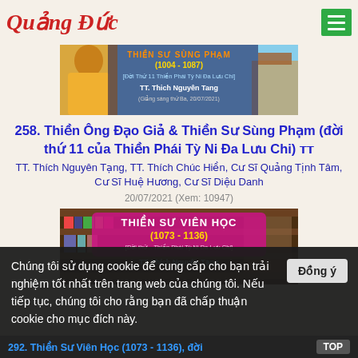Quảng Đức
[Figure (screenshot): Banner image for Thiền Sư Sùng Phạm (1004-1087), featuring a monk in yellow robe, with text: THIỀN SƯ SÙNG PHẠM (1004 - 1087) [Đời Thứ 11 Thiền Phái Tỳ Ni Đa Lưu Chi] TT. Thich Nguyên Tang (Giảng sáng thứ Ba, 20/07/2021)]
258. Thiền Ông Đạo Giả & Thiền Sư Sùng Phạm (đời thứ 11 của Thiền Phái Tỳ Ni Đa Lưu Chi) 𝗧𝗧. Thích Nguyên Tạng
TT. Thích Nguyên Tạng, TT. Thích Chúc Hiền, Cư Sĩ Quảng Tịnh Tâm, Cư Sĩ Huệ Hương, Cư Sĩ Diệu Danh
20/07/2021 (Xem: 10947)
[Figure (screenshot): Banner image for Thiền Sư Viên Học (1073-1136), showing bookshelves background with text: THIỀN SƯ VIÊN HỌC (1073 - 1136) [Đời thứ... Thiền Phái Tỳ Ni Đa Lưu Chi] TT. Thích Nguyên Tạng]
Chúng tôi sử dụng cookie để cung cấp cho bạn trải nghiệm tốt nhất trên trang web của chúng tôi. Nếu tiếp tục, chúng tôi cho rằng bạn đã chấp thuận cookie cho mục đích này.
Đồng ý
292. Thiền Sư Viên Học (1073 - 1136), đời
TOP